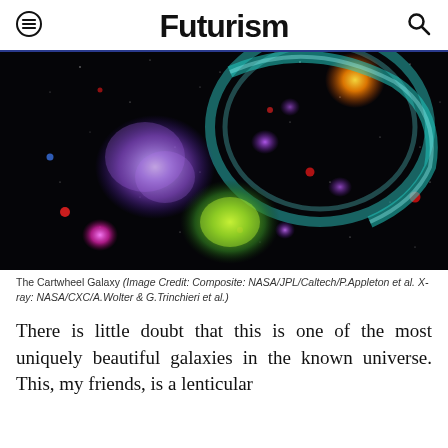Futurism
[Figure (photo): The Cartwheel Galaxy — a composite astronomical image showing colorful nebulae and galaxies against a black background, with purple, teal, green, and orange glowing regions]
The Cartwheel Galaxy (Image Credit: Composite: NASA/JPL/Caltech/P.Appleton et al. X-ray: NASA/CXC/A.Wolter & G.Trinchieri et al.)
There is little doubt that this is one of the most uniquely beautiful galaxies in the known universe. This, my friends, is a lenticular